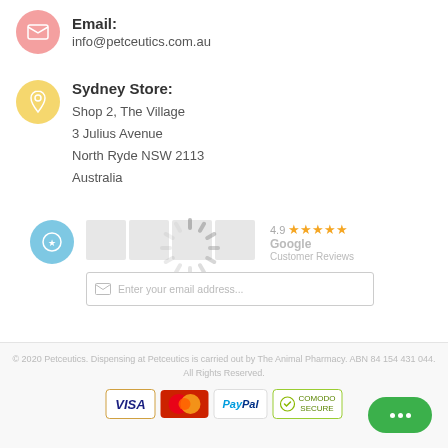Email:
info@petceutics.com.au
Sydney Store:
Shop 2, The Village
3 Julius Avenue
North Ryde NSW 2113
Australia
[Figure (screenshot): Loading spinner overlay on review widget area with Google Customer Reviews rating (4.9 stars) and email input field]
© 2020 Petceutics. Dispensing at Petceutics is carried out by The Animal Pharmacy. ABN 84 154 431 044. All Rights Reserved.